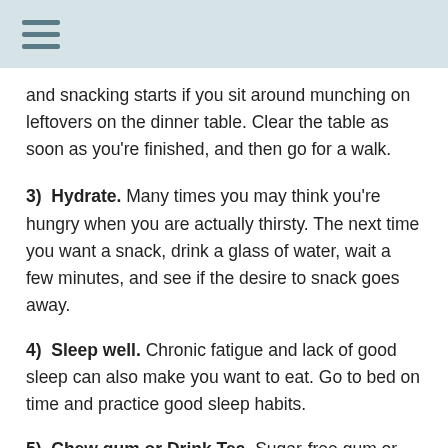and snacking starts if you sit around munching on leftovers on the dinner table. Clear the table as soon as you're finished, and then go for a walk.
3)  Hydrate. Many times you may think you're hungry when you are actually thirsty. The next time you want a snack, drink a glass of water, wait a few minutes, and see if the desire to snack goes away.
4)  Sleep well. Chronic fatigue and lack of good sleep can also make you want to eat. Go to bed on time and practice good sleep habits.
5)  Chew gum or Drink Tea. Sugar-free gum or herbal teas are